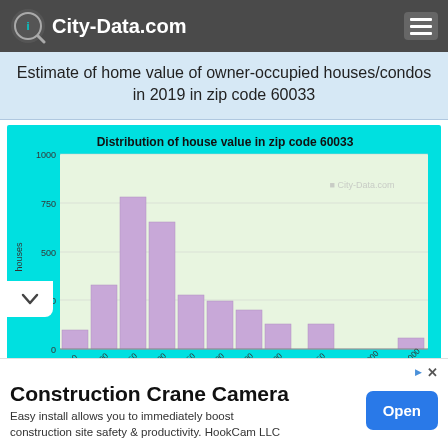City-Data.com
Estimate of home value of owner-occupied houses/condos in 2019 in zip code 60033
[Figure (histogram): Distribution of house value in zip code 60033]
Construction Crane Camera
Easy install allows you to immediately boost construction site safety & productivity. HookCam LLC